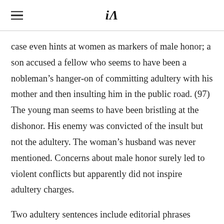iA (logo with hamburger menu)
case even hints at women as markers of male honor; a son accused a fellow who seems to have been a nobleman’s hanger-on of committing adultery with his mother and then insulting him in the public road. (97) The young man seems to have been bristling at the dishonor. His enemy was convicted of the insult but not the adultery. The woman’s husband was never mentioned. Concerns about male honor surely led to violent conflicts but apparently did not inspire adultery charges.
Two adultery sentences include editorial phrases explaining the purpose of the sentence in terms of